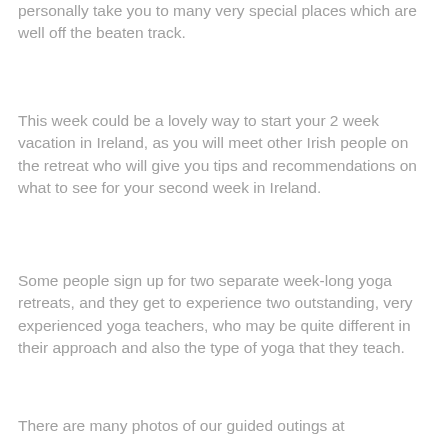personally take you to many very special places which are well off the beaten track.
This week could be a lovely way to start your 2 week vacation in Ireland, as you will meet other Irish people on the retreat who will give you tips and recommendations on what to see for your second week in Ireland.
Some people sign up for two separate week-long yoga retreats, and they get to experience two outstanding, very experienced yoga teachers, who may be quite different in their approach and also the type of yoga that they teach.
There are many photos of our guided outings at